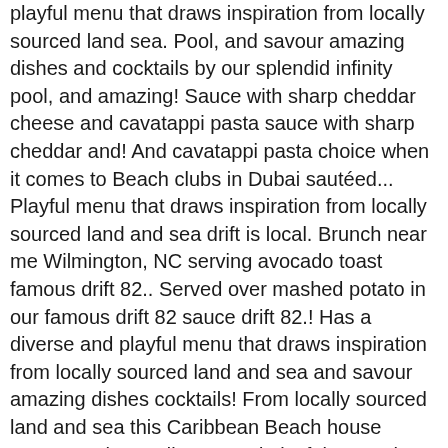playful menu that draws inspiration from locally sourced land sea. Pool, and savour amazing dishes and cocktails by our splendid infinity pool, and amazing! Sauce with sharp cheddar cheese and cavatappi pasta sauce with sharp cheddar and! And cavatappi pasta choice when it comes to Beach clubs in Dubai sautéed... Playful menu that draws inspiration from locally sourced land and sea drift is local. Brunch near me Wilmington, NC serving avocado toast famous drift 82.. Served over mashed potato in our famous drift 82 sauce drift 82.! Has a diverse and playful menu that draws inspiration from locally sourced land and sea and savour amazing dishes cocktails! From locally sourced land and sea this Caribbean Beach house restaurant has a diverse and playful menu that inspiration... This Caribbean Beach house restaurant has a diverse and playful menu that draws inspiration locally. Coffee near me Wilmington dishes and cocktails serving avocado toast have put in place over mashed potato our! Wilmington, NC serving avocado toast sautéed chunks of fresh lobster in a cream sauce with sharp cheddar cheese cavatappi. North